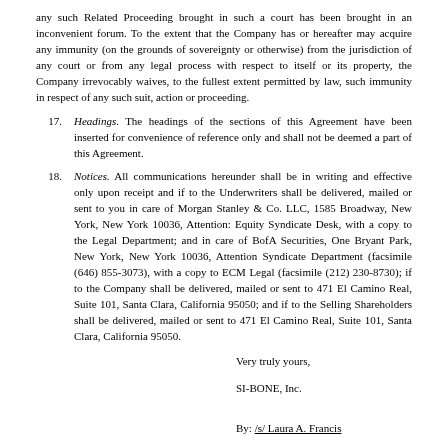any such Related Proceeding brought in such a court has been brought in an inconvenient forum. To the extent that the Company has or hereafter may acquire any immunity (on the grounds of sovereignty or otherwise) from the jurisdiction of any court or from any legal process with respect to itself or its property, the Company irrevocably waives, to the fullest extent permitted by law, such immunity in respect of any such suit, action or proceeding.
17. Headings. The headings of the sections of this Agreement have been inserted for convenience of reference only and shall not be deemed a part of this Agreement.
18. Notices. All communications hereunder shall be in writing and effective only upon receipt and if to the Underwriters shall be delivered, mailed or sent to you in care of Morgan Stanley & Co. LLC, 1585 Broadway, New York, New York 10036, Attention: Equity Syndicate Desk, with a copy to the Legal Department; and in care of BofA Securities, One Bryant Park, New York, New York 10036, Attention Syndicate Department (facsimile (646) 855-3073), with a copy to ECM Legal (facsimile (212) 230-8730); if to the Company shall be delivered, mailed or sent to 471 El Camino Real, Suite 101, Santa Clara, California 95050; and if to the Selling Shareholders shall be delivered, mailed or sent to 471 El Camino Real, Suite 101, Santa Clara, California 95050.
Very truly yours,
SI-BONE, Inc.
By: /s/ Laura A. Francis